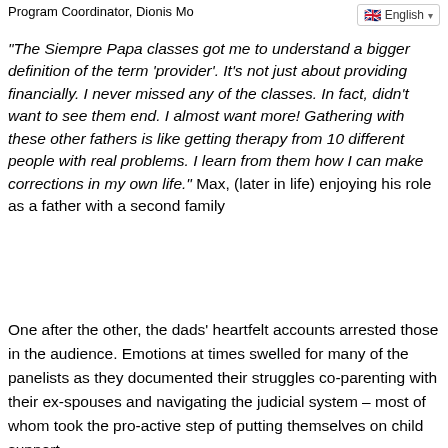Program Coordinator, Dionis Mo...
“The Siempre Papa classes got me to understand a bigger definition of the term ‘provider’.  It’s not just about providing financially.  I never missed any of the classes.  In fact,  didn’t want to see them end. I almost want more!  Gathering  with these other fathers is like getting therapy from 10 different people with real problems.  I learn from them how I can make corrections in my own life.”    Max, (later in life) enjoying his role as a father with a second family
One after the other, the dads’ heartfelt accounts arrested those in the audience.  Emotions at times swelled for many of the panelists as they documented their struggles co-parenting with their ex-spouses and navigating the judicial system – most of whom took the pro-active step of putting themselves on child support